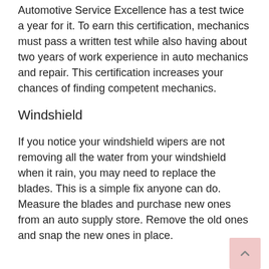Automotive Service Excellence has a test twice a year for it. To earn this certification, mechanics must pass a written test while also having about two years of work experience in auto mechanics and repair. This certification increases your chances of finding competent mechanics.
Windshield
If you notice your windshield wipers are not removing all the water from your windshield when it rain, you may need to replace the blades. This is a simple fix anyone can do. Measure the blades and purchase new ones from an auto supply store. Remove the old ones and snap the new ones in place.